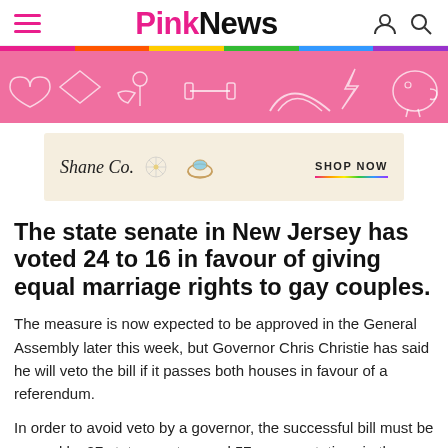PinkNews
[Figure (illustration): PinkNews decorative banner with pink background and white outline illustrations of LGBTQ+ symbols including hearts, rainbows, and figures]
[Figure (illustration): Shane Co. advertisement with beige background showing star pin jewelry and a gemstone ring, with SHOP NOW text]
The state senate in New Jersey has voted 24 to 16 in favour of giving equal marriage rights to gay couples.
The measure is now expected to be approved in the General Assembly later this week, but Governor Chris Christie has said he will veto the bill if it passes both houses in favour of a referendum.
In order to avoid veto by a governor, the successful bill must be passed by 27 state senators and 57 representatives in the General Assembly.